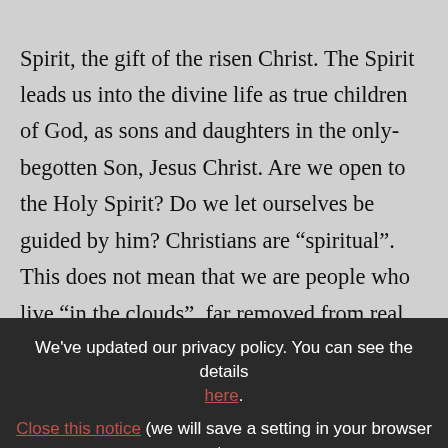Spirit, the gift of the risen Christ. The Spirit leads us into the divine life as true children of God, as sons and daughters in the only-begotten Son, Jesus Christ. Are we open to the Holy Spirit? Do we let ourselves be guided by him? Christians are “spiritual”. This does not mean that we are people who live “in the clouds”, far removed from real life, as if it were some kind of mirage. No! The Christian is someone who thinks and acts in everyday life
We've updated our privacy policy. You can see the details here. Close this notice (we will save a setting in your browser to keep it from showing again).